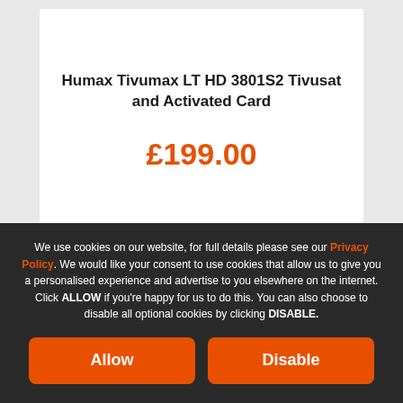Humax Tivumax LT HD 3801S2 Tivusat and Activated Card
£199.00
We use cookies on our website, for full details please see our Privacy Policy. We would like your consent to use cookies that allow us to give you a personalised experience and advertise to you elsewhere on the internet. Click ALLOW if you're happy for us to do this. You can also choose to disable all optional cookies by clicking DISABLE.